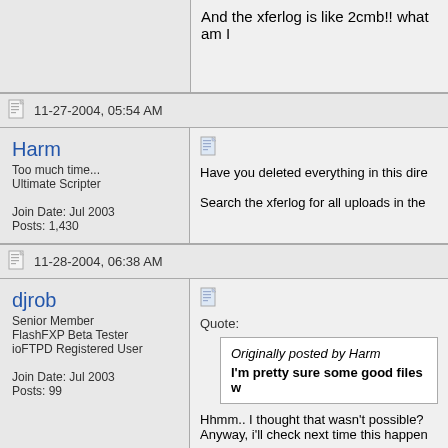And the xferlog is like 2cmb!! what am I...
11-27-2004, 05:54 AM
Harm
Too much time...
Ultimate Scripter

Join Date: Jul 2003
Posts: 1,430
Have you deleted everything in this dire...

Search the xferlog for all uploads in the...
11-28-2004, 06:38 AM
djrob
Senior Member
FlashFXP Beta Tester
ioFTPD Registered User

Join Date: Jul 2003
Posts: 99
Quote:
Originally posted by Harm
I'm pretty sure some good files w...

Hhmm.. I thought that wasn't possible?
Anyway, i'll check next time this happen...